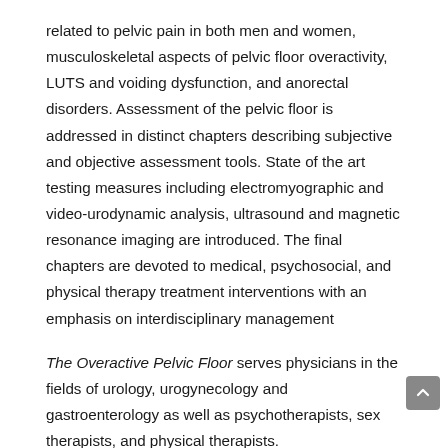related to pelvic pain in both men and women, musculoskeletal aspects of pelvic floor overactivity, LUTS and voiding dysfunction, and anorectal disorders. Assessment of the pelvic floor is addressed in distinct chapters describing subjective and objective assessment tools. State of the art testing measures including electromyographic and video-urodynamic analysis, ultrasound and magnetic resonance imaging are introduced. The final chapters are devoted to medical, psychosocial, and physical therapy treatment interventions with an emphasis on interdisciplinary management
The Overactive Pelvic Floor serves physicians in the fields of urology, urogynecology and gastroenterology as well as psychotherapists, sex therapists, and physical therapists.